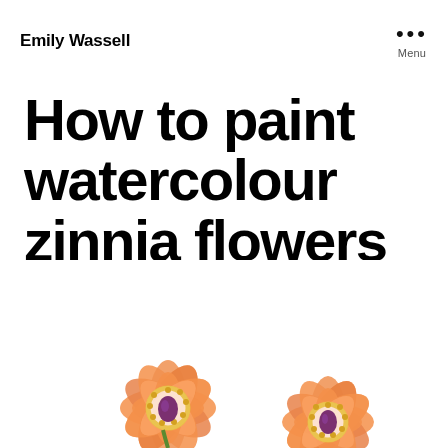Emily Wassell ... Menu
How to paint watercolour zinnia flowers
[Figure (photo): Two orange watercolour zinnia flowers with purple centres and yellow stamens, painted on white background, partially visible at bottom of page]